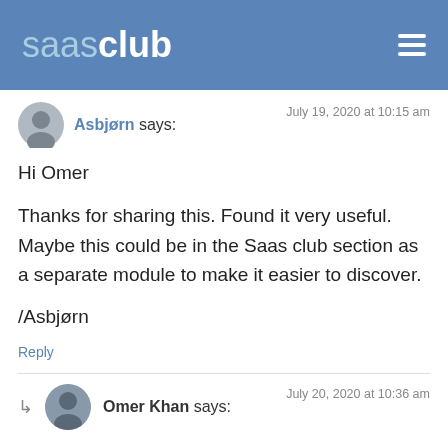saasclub
Asbjørn says:
July 19, 2020 at 10:15 am
Hi Omer

Thanks for sharing this. Found it very useful. Maybe this could be in the Saas club section as a separate module to make it easier to discover.

/Asbjørn
Reply
Omer Khan says:
July 20, 2020 at 10:36 am